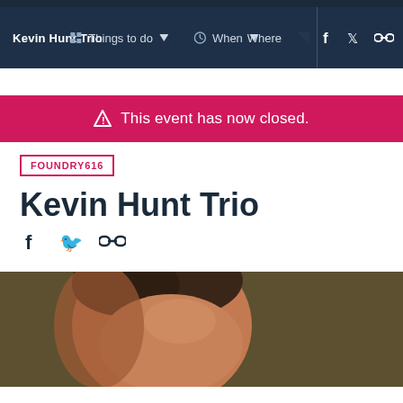Kevin Hunt Trio | Things to do | When | Where
This event has now closed.
FOUNDRY616
Kevin Hunt Trio
[Figure (photo): Close-up photo of a man's head, partially visible, with dark hair, against a dark olive/brown background.]